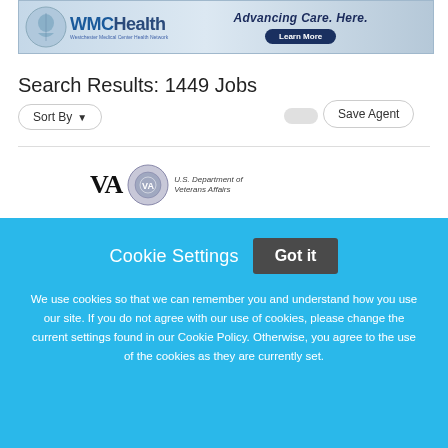[Figure (screenshot): WMC Health banner advertisement with logo on left, tagline 'Advancing Care. Here.' and 'Learn More' button on right]
Search Results: 1449 Jobs
Sort By ▼
Save Agent
[Figure (logo): VA | U.S. Department of Veterans Affairs seal and text logo]
Cookie Settings   Got it
We use cookies so that we can remember you and understand how you use our site. If you do not agree with our use of cookies, please change the current settings found in our Cookie Policy. Otherwise, you agree to the use of the cookies as they are currently set.